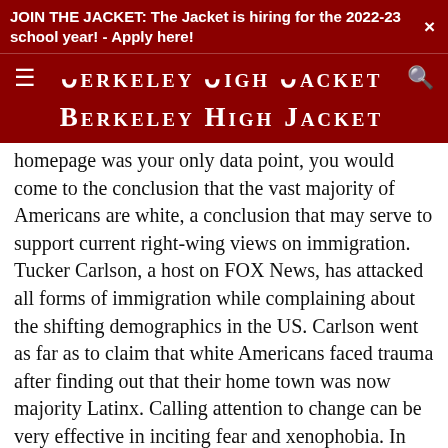JOIN THE JACKET: The Jacket is hiring for the 2022-23 school year! - Apply here!
BERKELEY HIGH JACKET
homepage was your only data point, you would come to the conclusion that the vast majority of Americans are white, a conclusion that may serve to support current right-wing views on immigration. Tucker Carlson, a host on FOX News, has attacked all forms of immigration while complaining about the shifting demographics in the US. Carlson went as far as to claim that white Americans faced trauma after finding out that their home town was now majority Latinx. Calling attention to change can be very effective in inciting fear and xenophobia. In How Facism Works: The Politics of Us and Them, Jason Stanley writes, “In the rhetoric of extreme nationalists, such glorious past has been lost by humiliation brought on by globalism, liberal cosmopolitanism, and support for feminism and other …